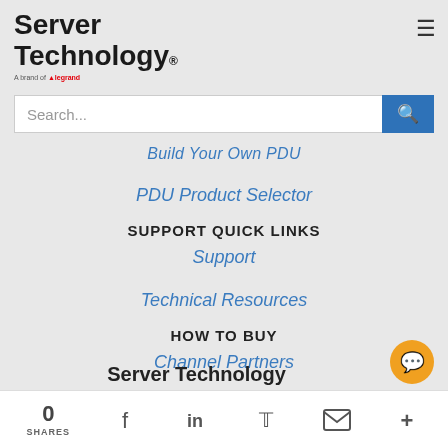[Figure (logo): Server Technology logo with 'A brand of Legrand' tagline]
[Figure (other): Hamburger menu icon (three horizontal lines)]
Search...
Build Your Own PDU
PDU Product Selector
SUPPORT QUICK LINKS
Support
Technical Resources
HOW TO BUY
Channel Partners
Server Technology
0 SHARES | Facebook | LinkedIn | Twitter | Email | More